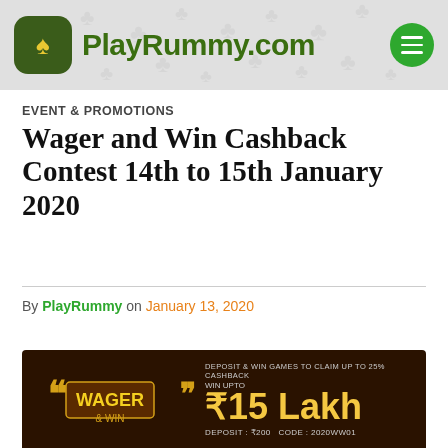PlayRummy.com
EVENT & PROMOTIONS
Wager and Win Cashback Contest 14th to 15th January 2020
By PlayRummy on January 13, 2020
[Figure (infographic): PlayRummy Wager and Win promotional banner showing '₹15 Lakh' prize with deposit ₹200 and code 2020WW01, dark brown background with gold text]